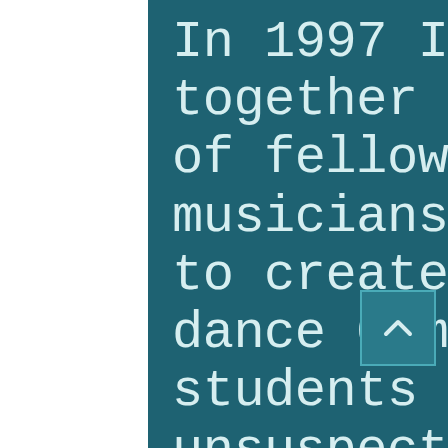In 1997 I brought together a collection of fellow artists, musicians and dancers to create the NOMAD dance Company. As my students unearthed unsuspected skills my commitment to community strengthened. I designed and
[Figure (other): Scroll-to-top button with upward chevron arrow, dark teal background with lighter teal border]